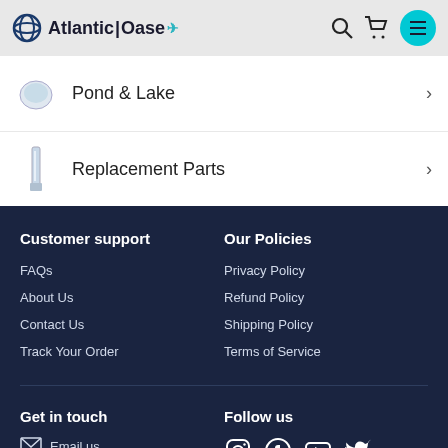Atlantic Oase
Pond & Lake
Replacement Parts
Customer support
FAQs
About Us
Contact Us
Track Your Order
Our Policies
Privacy Policy
Refund Policy
Shipping Policy
Terms of Service
Get in touch
Email us
Follow us